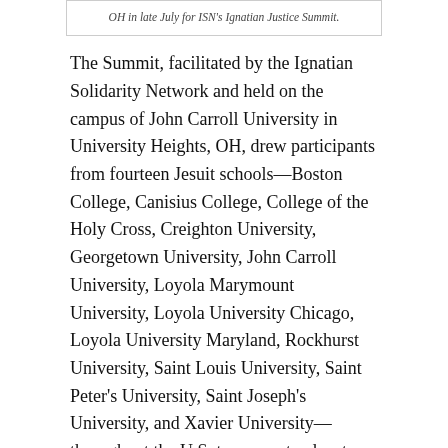OH in late July for ISN's Ignatian Justice Summit.
The Summit, facilitated by the Ignatian Solidarity Network and held on the campus of John Carroll University in University Heights, OH, drew participants from fourteen Jesuit schools—Boston College, Canisius College, College of the Holy Cross, Creighton University, Georgetown University, John Carroll University, Loyola Marymount University, Loyola University Chicago, Loyola University Maryland, Rockhurst University, Saint Louis University, Saint Peter's University, Saint Joseph's University, and Xavier University—throughout the U.S. to connect, educate, and network for immigration justice.
[Figure (photo): Two young men seated at a table, appearing to be engaged in discussion or working. One on the left wearing a plaid shirt, one on the right in a white shirt.]